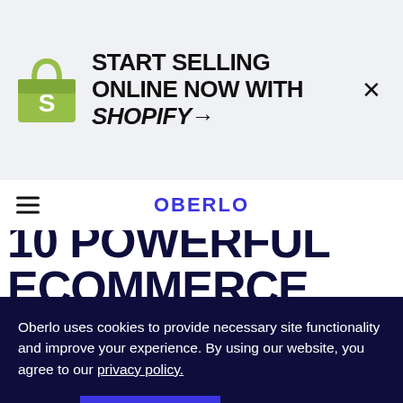[Figure (logo): Shopify advertisement banner with green Shopify bag logo and text: START SELLING ONLINE NOW WITH SHOPIFY→, with an X close button]
OBERLO
10 POWERFUL ECOMMERCE STATISTICS THAT WILL GUIDE YOUR
Oberlo uses cookies to provide necessary site functionality and improve your experience. By using our website, you agree to our privacy policy.
Reject  ACCEPT